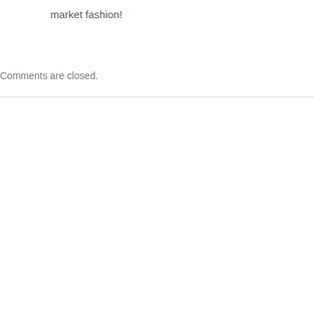market fashion!
Comments are closed.